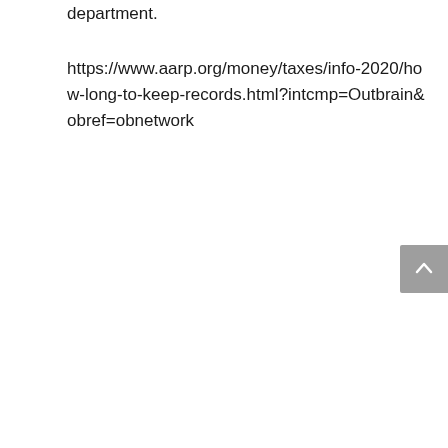department.
https://www.aarp.org/money/taxes/info-2020/how-long-to-keep-records.html?intcmp=Outbrain&obref=obnetwork